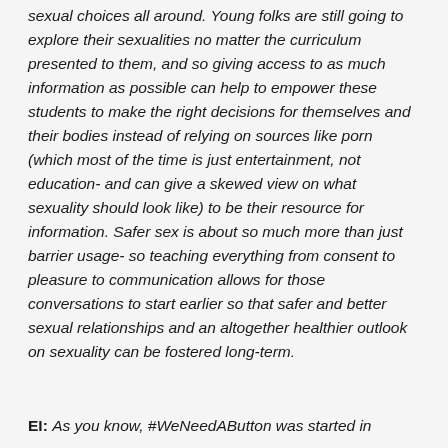sexual choices all around. Young folks are still going to explore their sexualities no matter the curriculum presented to them, and so giving access to as much information as possible can help to empower these students to make the right decisions for themselves and their bodies instead of relying on sources like porn (which most of the time is just entertainment, not education- and can give a skewed view on what sexuality should look like) to be their resource for information. Safer sex is about so much more than just barrier usage- so teaching everything from consent to pleasure to communication allows for those conversations to start earlier so that safer and better sexual relationships and an altogether healthier outlook on sexuality can be fostered long-term.
EI: As you know, #WeNeedAButton was started in